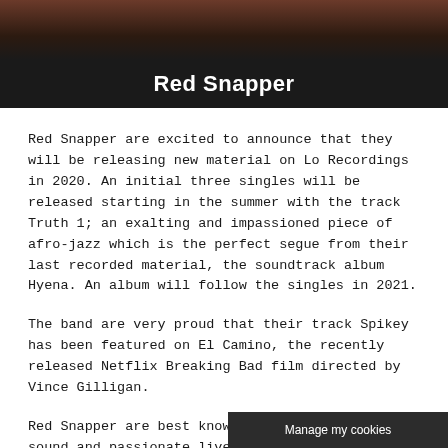[Figure (photo): Dark photographic image strip at top of page, showing what appears to be objects on a reddish-brown surface]
Red Snapper
Red Snapper are excited to announce that they will be releasing new material on Lo Recordings in 2020. An initial three singles will be released starting in the summer with the track Truth 1; an exalting and impassioned piece of afro-jazz which is the perfect segue from their last recorded material, the soundtrack album Hyena. An album will follow the singles in 2021.
The band are very proud that their track Spikey has been featured on El Camino, the recently released Netflix Breaking Bad film directed by Vince Gilligan.
Red Snapper are best known for their unique sound and passionate live performances where they embrace dark funk, hip-hop, dub, psychedelic surf, afro